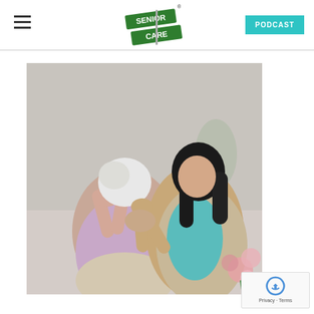Senior Care (logo) | PODCAST
[Figure (photo): A younger woman with dark hair comforting an elderly woman who is covering her face with her hands in distress. The caregiver is holding the senior's hands with one hand and placing the other on her shoulder. Pink flowers are visible in the foreground.]
[Figure (logo): reCAPTCHA badge with Privacy - Terms text]